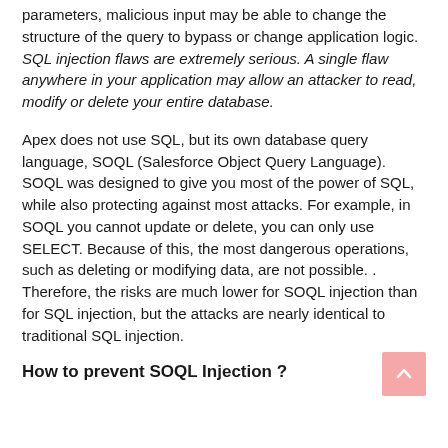parameters, malicious input may be able to change the structure of the query to bypass or change application logic. SQL injection flaws are extremely serious. A single flaw anywhere in your application may allow an attacker to read, modify or delete your entire database.
Apex does not use SQL, but its own database query language, SOQL (Salesforce Object Query Language). SOQL was designed to give you most of the power of SQL, while also protecting against most attacks. For example, in SOQL you cannot update or delete, you can only use SELECT. Because of this, the most dangerous operations, such as deleting or modifying data, are not possible. . Therefore, the risks are much lower for SOQL injection than for SQL injection, but the attacks are nearly identical to traditional SQL injection.
How to prevent SOQL Injection ?